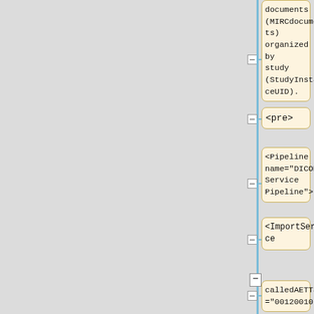documents (MIRCdocuments) organized by study (StudyInstanceUID).
<pre>
<Pipeline name="DICOM Service Pipeline">
<ImportService
calledAETTag="00120010"